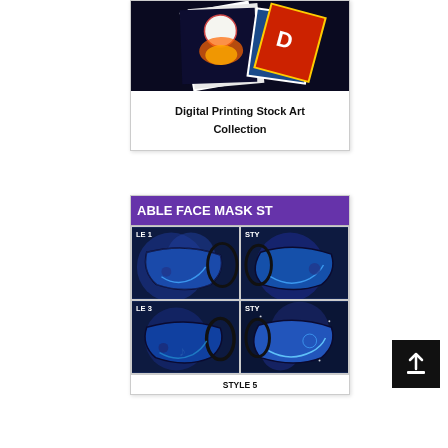[Figure (illustration): Product card for Digital Printing Stock Art Collection showing printed cards/photos with a baseball and colorful text art]
Digital Printing Stock Art Collection
[Figure (illustration): Product card showing Sublimatable Face Mask Styles with 5 mask style variants displayed in a grid (Style 1, Style 3, Style 5 visible), each showing a blue galaxy-themed face mask design]
ABLE FACE MASK ST
LE 1
STY
LE 3
STY
STYLE 5